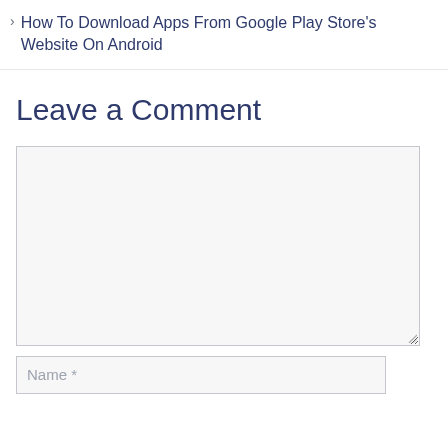How To Download Apps From Google Play Store's Website On Android
Leave a Comment
[Figure (screenshot): Empty comment textarea input box with light gray background]
Name *